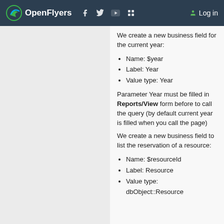OpenFlyers  Log in
We create a new business field for the current year:
Name: $year
Label: Year
Value type: Year
Parameter Year must be filled in Reports/View form before to call the query (by default current year is filled when you call the page)
We create a new business field to list the reservation of a resource:
Name: $resourceId
Label: Resource
Value type: dbObject::Resource